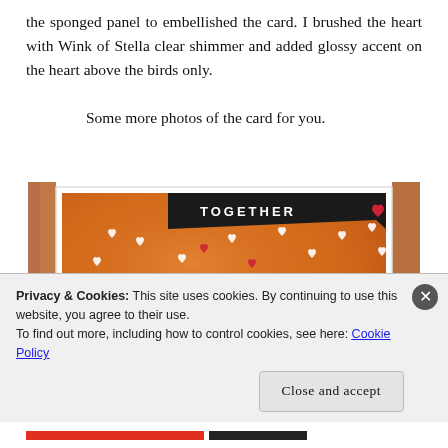the sponged panel to embellished the card. I brushed the heart with Wink of Stella clear shimmer and added glossy accent on the heart above the birds only.

        Some more photos of the card for you.
[Figure (photo): Close-up photo of a handmade greeting card on a wooden surface. The card features an orange sponged panel with scattered white and red heart shapes, two cute yellow cartoon birds (chicks) with green and red details, and a black banner at the top with white text reading 'TOGETHER' with a red heart.]
Privacy & Cookies: This site uses cookies. By continuing to use this website, you agree to their use.
To find out more, including how to control cookies, see here: Cookie Policy
Close and accept